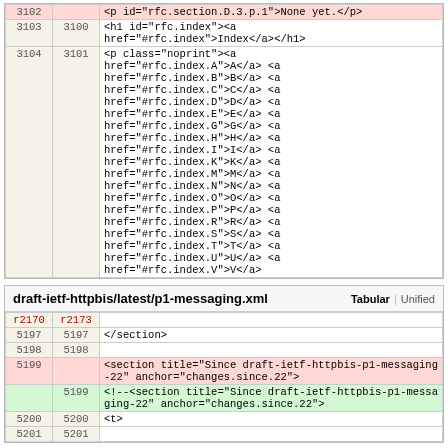|  |  | content |
| --- | --- | --- |
| 3102 |  | <p id="rfc.section.D.3.p.1">None yet.</p> |
| 3103 | 3100 | <h1 id="rfc.index"><a href="#rfc.index">Index</a></h1> |
| 3104 | 3101 | <p class="noprint"><a href="#rfc.index.A">A</a> <a href="#rfc.index.B">B</a> <a href="#rfc.index.C">C</a> <a href="#rfc.index.D">D</a> <a href="#rfc.index.E">E</a> <a href="#rfc.index.G">G</a> <a href="#rfc.index.H">H</a> <a href="#rfc.index.I">I</a> <a href="#rfc.index.K">K</a> <a href="#rfc.index.M">M</a> <a href="#rfc.index.N">N</a> <a href="#rfc.index.O">O</a> <a href="#rfc.index.P">P</a> <a href="#rfc.index.R">R</a> <a href="#rfc.index.S">S</a> <a href="#rfc.index.T">T</a> <a href="#rfc.index.U">U</a> <a href="#rfc.index.V">V</a> |
| r2170 | r2173 | content |
| --- | --- | --- |
| 5197 | 5197 | </section> |
| 5198 | 5198 |  |
| 5199 |  | <section title="Since draft-ietf-httpbis-p1-messaging-22" anchor="changes.since.22"> |
|  | 5199 | <!--<section title="Since draft-ietf-httpbis-p1-messaging-22" anchor="changes.since.22"> |
| 5200 | 5200 | <t> |
| 5201 | 5201 |  |